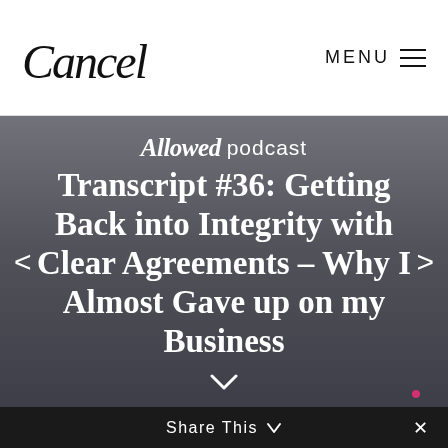Cancel — MENU
[Figure (screenshot): Hero section with podcast title on dark gray gradient background with navigation arrows]
Allowed podcast Transcript #36: Getting Back into Integrity with Clear Agreements – Why I Almost Gave up on my Business
Share This ✕